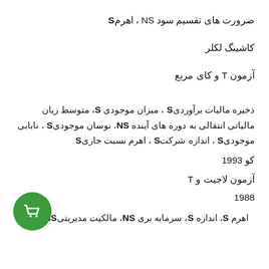ضرورت های تقسیم سود NS ، اهرمS
کاشینگ لکلر
آزمون T و کای مربع
ذخیره مالیات برآوردیS ، میزان موجودی S، متوسط زیان مالیاتی انتقالی به دوره های آینده NS، نوسان موجودیS ، نابابی موجودیS ، اندازه شرکتS ، اهرم نسبت جاریS
کو 1993
آزمون لاجیت و T
1988
[Figure (illustration): Green circle with white shopping cart icon]
اهرم S، اندازه S، سرمایه بری NS، مالکیت مدیریتیNS